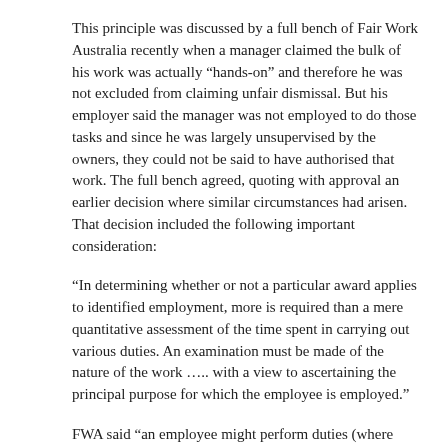This principle was discussed by a full bench of Fair Work Australia recently when a manager claimed the bulk of his work was actually “hands-on” and therefore he was not excluded from claiming unfair dismissal. But his employer said the manager was not employed to do those tasks and since he was largely unsupervised by the owners, they could not be said to have authorised that work. The full bench agreed, quoting with approval an earlier decision where similar circumstances had arisen. That decision included the following important consideration:
“In determining whether or not a particular award applies to identified employment, more is required than a mere quantitative assessment of the time spent in carrying out various duties. An examination must be made of the nature of the work ….. with a view to ascertaining the principal purpose for which the employee is employed.”
FWA said “an employee might perform duties (where they are not closely supervised) which the employee prefers, or believes to be required, but which are not the duties the employee is necessarily directed (or employed) to perform.”